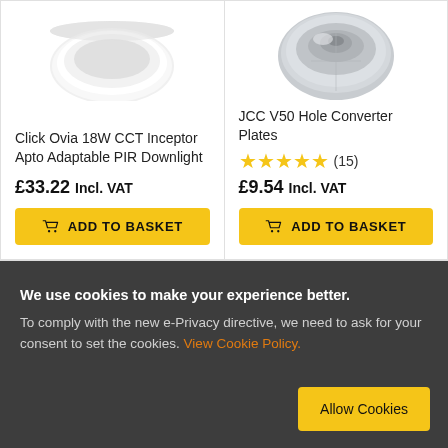[Figure (photo): White round downlight product image, partially cropped at top]
Click Ovia 18W CCT Inceptor Apto Adaptable PIR Downlight
£33.22 Incl. VAT
ADD TO BASKET
[Figure (photo): Silver/chrome JCC V50 hole converter plate product image, partially cropped at top]
JCC V50 Hole Converter Plates
(15)
£9.54 Incl. VAT
ADD TO BASKET
We use cookies to make your experience better. To comply with the new e-Privacy directive, we need to ask for your consent to set the cookies. View Cookie Policy.
Allow Cookies